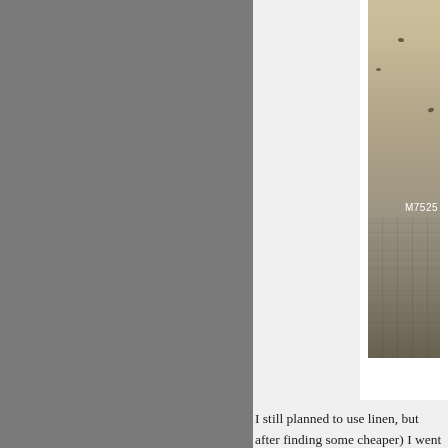[Figure (photo): Partial view of a cream/beige fur or sheepskin rug with dark spots, laid on wooden floor planks. A label reading 'M7525' appears in the lower portion of the image. The photo is displayed as a white-bordered card on a light gray background. The left portion of the page shows a dark gray sidebar.]
I still planned to use linen, but after finding some cheaper) I went with that instead. fabric (more on that in the eventu
Finally, the current plan is to fake Realistically I need to cut down a don't really mind faking the shirt...